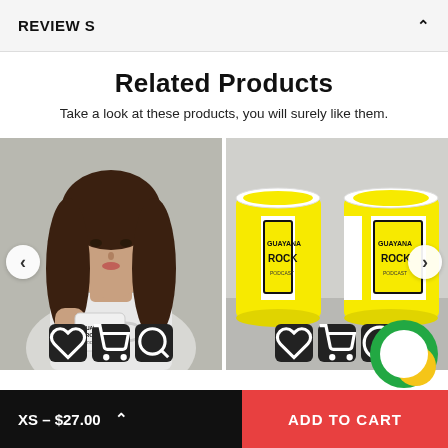REVIEW S
Related Products
Take a look at these products, you will surely like them.
[Figure (photo): Woman holding a white mug with Guayana Rock Podcast logo]
[Figure (photo): Yellow and white mug with Guayana Rock Podcast logo shown from multiple angles]
XS – $27.00
ADD TO CART